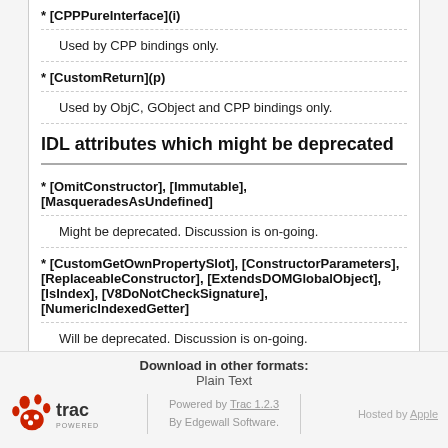* [CPPPureInterface](i)
Used by CPP bindings only.
* [CustomReturn](p)
Used by ObjC, GObject and CPP bindings only.
IDL attributes which might be deprecated
* [OmitConstructor], [Immutable], [MasqueradesAsUndefined]
Might be deprecated. Discussion is on-going.
* [CustomGetOwnPropertySlot], [ConstructorParameters], [ReplaceableConstructor], [ExtendsDOMGlobalObject], [IsIndex], [V8DoNotCheckSignature], [NumericIndexedGetter]
Will be deprecated. Discussion is on-going.
Download in other formats:
Plain Text
Powered by Trac 1.2.3
By Edgewall Software.
Hosted by Apple